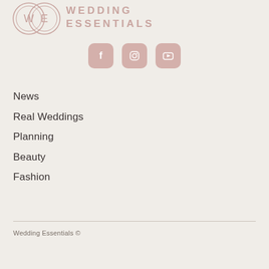[Figure (logo): Wedding Essentials logo with two overlapping circles containing W and E letters, followed by text WEDDING ESSENTIALS]
[Figure (infographic): Three social media icon buttons (Facebook, Instagram, YouTube) with rounded rectangle pink/mauve background]
News
Real Weddings
Planning
Beauty
Fashion
Wedding Essentials ©